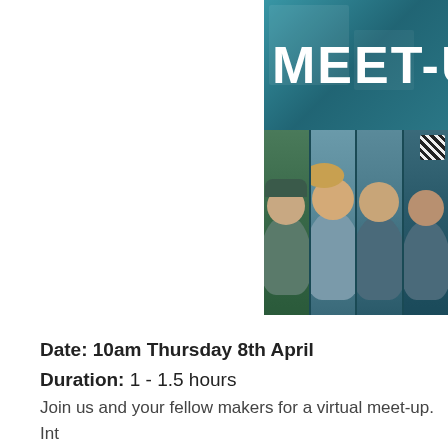[Figure (photo): Banner image with 'MEET-UP' text in white over a teal-tinted collage of food/craft items at top, and a row of smiling people (man in field, two women, woman crafting) below on a dark teal background.]
Date:  10am Thursday 8th April
Duration:  1 - 1.5 hours
Join us and your fellow makers for a virtual meet-up.  Int plus meet your fellow makers and hear the inspirational top Yumbles makers.
Includes a Q&A covering a range of food biz topics.
Register here >>